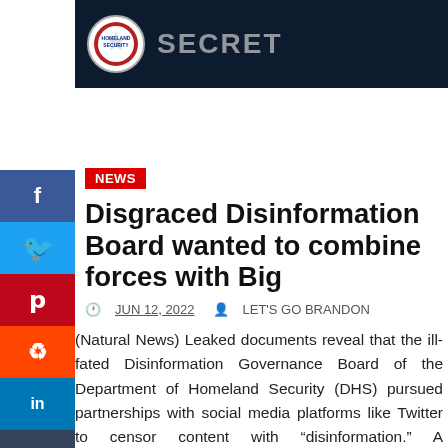[Figure (photo): Dark banner image showing a DHS/Homeland Security logo badge on dark navy background with partial text visible]
Disgraced Disinformation Board wanted to combine forces with Big
JUN 12, 2022   LET'S GO BRANDON
(Natural News) Leaked documents reveal that the ill-fated Disinformation Governance Board of the Department of Homeland Security (DHS) pursued partnerships with social media platforms like Twitter to censor content with “disinformation.” A whistleblower…